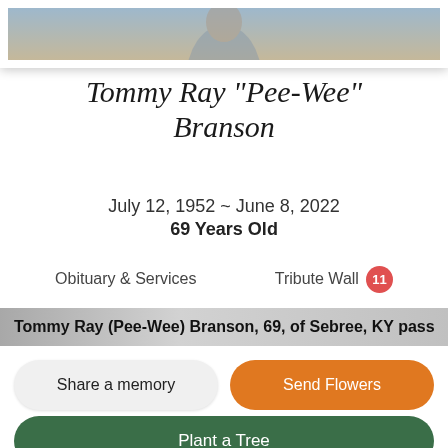[Figure (photo): Top portion of a photo of Tommy Ray Branson, showing upper body with a plaid shirt, cropped at the bottom, with a cream/beige photo mat border and white frame.]
Tommy Ray "Pee-Wee" Branson
July 12, 1952 ~ June 8, 2022
69 Years Old
Obituary & Services	Tribute Wall 11
Tommy Ray (Pee-Wee) Branson, 69, of Sebree, KY passed
Share a memory
Send Flowers
Plant a Tree